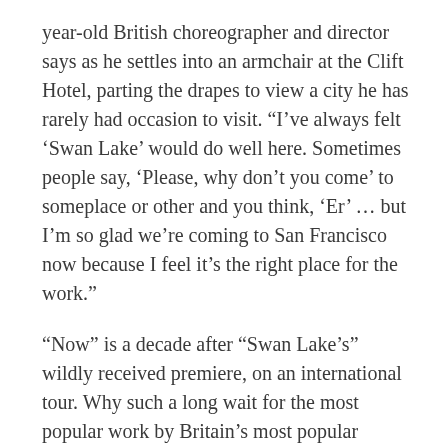year-old British choreographer and director says as he settles into an armchair at the Clift Hotel, parting the drapes to view a city he has rarely had occasion to visit. “I’ve always felt ‘Swan Lake’ would do well here. Sometimes people say, ‘Please, why don’t you come’ to someplace or other and you think, ‘Er’ … but I’m so glad we’re coming to San Francisco now because I feel it’s the right place for the work.”
“Now” is a decade after “Swan Lake’s” wildly received premiere, on an international tour. Why such a long wait for the most popular work by Britain’s most popular contemporary choreographer? Strangely, Bourne’s oeuvre has never gained a foothold in the Bay Area. In 2001, Solan...